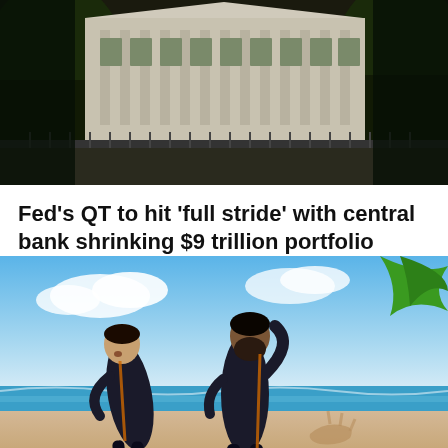[Figure (photo): Exterior photograph of the Federal Reserve building, a large neoclassical white stone structure seen through trees, with iron fence in foreground. Scene appears overcast/dark.]
Fed's QT to hit 'full stride' with central bank shrinking $9 trillion portfolio
[Figure (illustration): Illustrated image of two men in dark suits standing on a tropical beach with blue sky, ocean waves, green palm leaves visible. One man leans forward looking at the ground where a hand-like shape is drawn in the sand.]